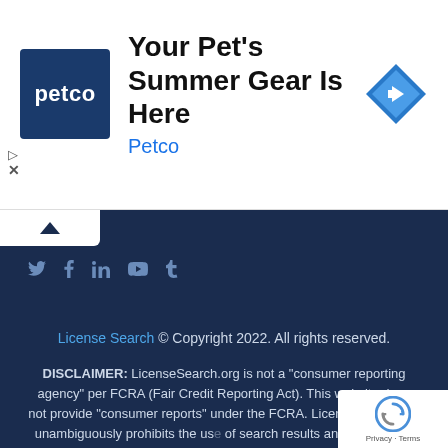[Figure (screenshot): Petco advertisement banner with Petco logo, text 'Your Pet's Summer Gear Is Here', brand name 'Petco' in blue, and a blue navigation/directions diamond icon on the right. Ad controls (play and close X) visible on left side.]
[Figure (screenshot): Website footer section with dark navy background. Contains a white collapse button with upward chevron, social media icons (Twitter, Facebook, LinkedIn, YouTube, Tumblr), copyright notice, and disclaimer text about LicenseSearch.org not being a consumer reporting agency per FCRA. reCAPTCHA badge visible in bottom right corner.]
License Search © Copyright 2022. All rights reserved.
DISCLAIMER: LicenseSearch.org is not a "consumer reporting agency" per FCRA (Fair Credit Reporting Act). This website does not provide "consumer reports" under the FCRA. LicenseSearch.org unambiguously prohibits the use of search results and information contained within (